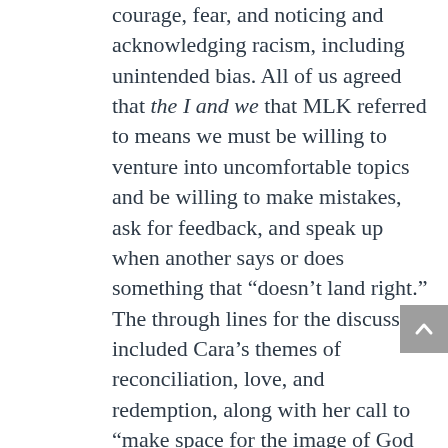courage, fear, and noticing and acknowledging racism, including unintended bias. All of us agreed that the I and we that MLK referred to means we must be willing to venture into uncomfortable topics and be willing to make mistakes, ask for feedback, and speak up when another says or does something that “doesn’t land right.” The through lines for the discussion included Cara’s themes of reconciliation, love, and redemption, along with her call to “make space for the image of God in everyone”.
The March 27th Zoom Conversation with Cara Meredith was well attended by FCC members, friends, and community members. Cara invited us into her personal journey toward deeper